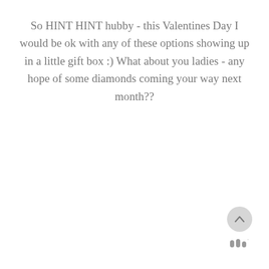So HINT HINT hubby - this Valentines Day I would be ok with any of these options showing up in a little gift box :) What about you ladies - any hope of some diamonds coming your way next month??